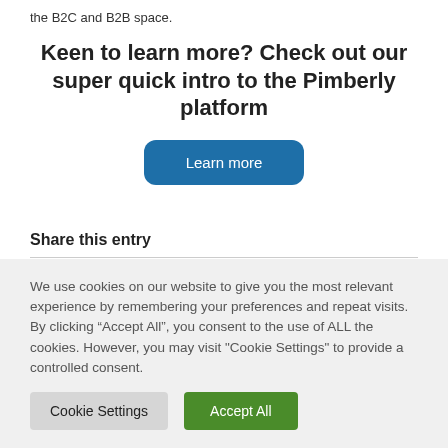the B2C and B2B space.
Keen to learn more? Check out our super quick intro to the Pimberly platform
[Figure (other): Learn more button — a rounded rectangle button with blue background and white text reading 'Learn more']
Share this entry
We use cookies on our website to give you the most relevant experience by remembering your preferences and repeat visits. By clicking “Accept All”, you consent to the use of ALL the cookies. However, you may visit "Cookie Settings" to provide a controlled consent.
[Figure (other): Two buttons: 'Cookie Settings' (grey background) and 'Accept All' (green background)]